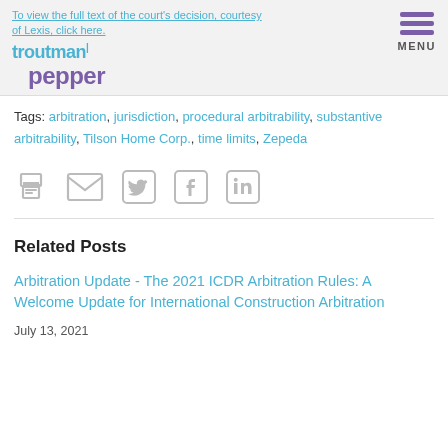To view the full text of the court's decision, courtesy of Lexis, click here.
[Figure (logo): Troutman Pepper law firm logo with menu icon]
Tags: arbitration, jurisdiction, procedural arbitrability, substantive arbitrability, Tilson Home Corp., time limits, Zepeda
[Figure (infographic): Social sharing icons: print, email, Twitter, Facebook, LinkedIn]
Related Posts
Arbitration Update - The 2021 ICDR Arbitration Rules: A Welcome Update for International Construction Arbitration
July 13, 2021